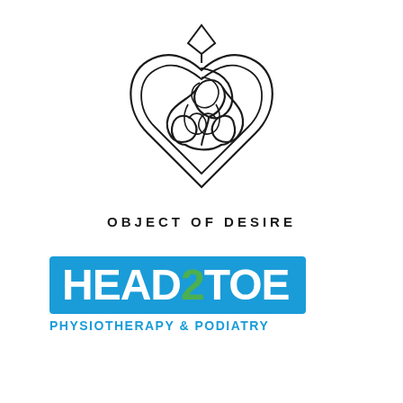[Figure (logo): Object of Desire logo: a heart outline containing an interwoven Celtic-style triquetra knot pattern, drawn in black lines on white background]
OBJECT OF DESIRE
[Figure (logo): Head2Toe Physiotherapy & Podiatry logo: blue rounded rectangle with 'HEAD2TOE' in white bold text with green '2', and 'PHYSIOTHERAPY & PODIATRY' in blue text below]